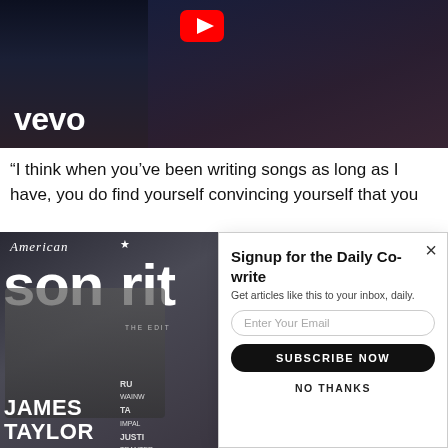[Figure (screenshot): YouTube/Vevo video thumbnail showing a dark background with a person's face and the Vevo logo in white, with a YouTube play button icon at top center]
“I think when you’ve been writing songs as long as I have, you do find yourself convincing yourself that you
[Figure (photo): American Songwriter magazine cover featuring James Taylor seated, with magazine title in large white letters, and sidebar names partially visible including RU(WAINW...), TA(IMPA...), JUSTI(TRANTER), NATHAM(RATEL...)]
Signup for the Daily Co-write
Get articles like this to your inbox, daily.
Enter Your Email
SUBSCRIBE NOW
NO THANKS